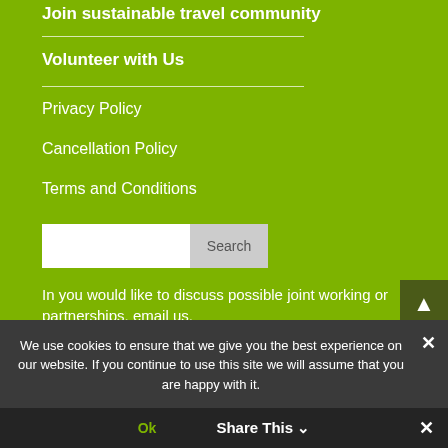Join sustainable travel community
Volunteer with Us
Privacy Policy
Cancellation Policy
Terms and Conditions
In you would like to discuss possible joint working or partnerships, email us.
We use cookies to ensure that we give you the best experience on our website. If you continue to use this site we will assume that you are happy with it.
Ok   Share This  ✕